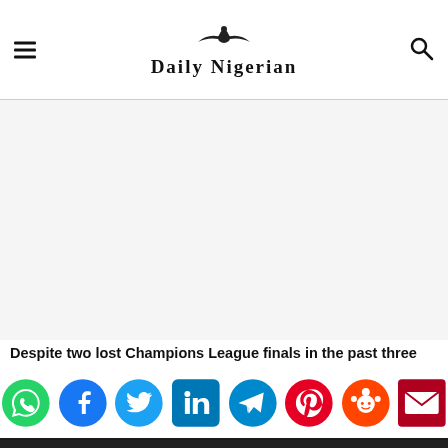Daily Nigerian
[Figure (other): Large advertisement / blank content area in the center of the page]
Despite two lost Champions League finals in the past three
[Figure (infographic): Social media sharing icons: WhatsApp, Facebook, Twitter, LinkedIn, Telegram, Pinterest, Reddit, Email]
[Figure (other): Cosgrove Real Estate advertisement: SMART HOMES. PRIME INVESTMENTS.]